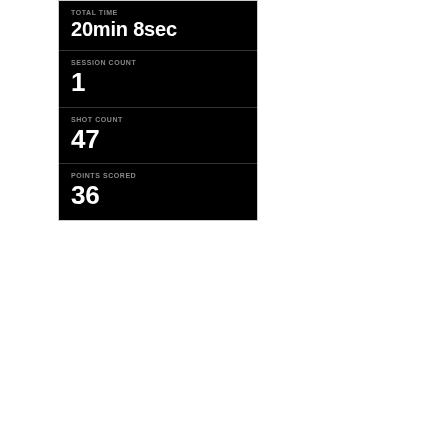TOTAL TIME
20min 8sec
SESSION COUNT
1
SHOT COUNT
47
POINTS SCORED
36